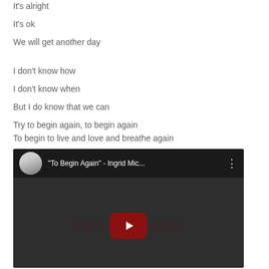It's alright
It's ok
We will get another day
I don't know how
I don't know when
But I do know that we can
Try to begin again, to begin again
To begin to live and love and breathe again
[Figure (screenshot): YouTube video embed showing '"To Begin Again" - Ingrid Mic...' with a circular avatar thumbnail, video title, three-dot menu icon, dark background with YouTube watermark text and a dark red play button in the center.]